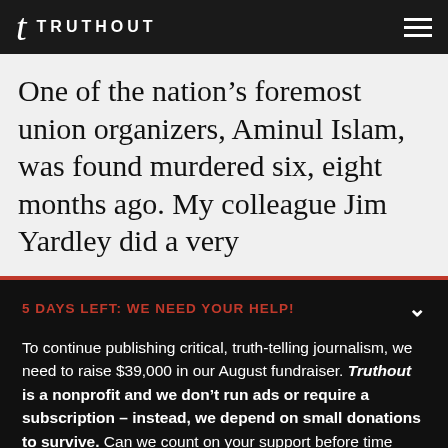TRUTHOUT
One of the nation’s foremost union organizers, Aminul Islam, was found murdered six, eight months ago. My colleague Jim Yardley did a very
5 DAYS LEFT: WE NEED YOUR HELP!
To continue publishing critical, truth-telling journalism, we need to raise $39,000 in our August fundraiser. Truthout is a nonprofit and we don’t run ads or require a subscription – instead, we depend on small donations to survive. Can we count on your support before time runs out?
DONATE
DONATE MONTHLY